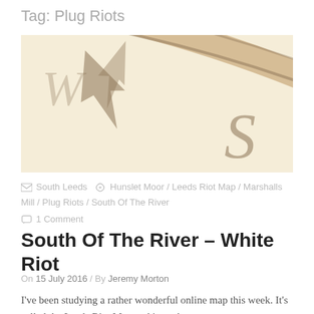Tag: Plug Riots
[Figure (illustration): A vintage compass rose image showing partial compass directions including W (West) and S (South) on a cream/beige background with muted brown tones]
South Leeds  Hunslet Moor / Leeds Riot Map / Marshalls Mill / Plug Riots / South Of The River  1 Comment
South Of The River – White Riot
On 15 July 2016 / By Jeremy Morton
I've been studying a rather wonderful online map this week. It's called the Leeds Riot Map and it marks